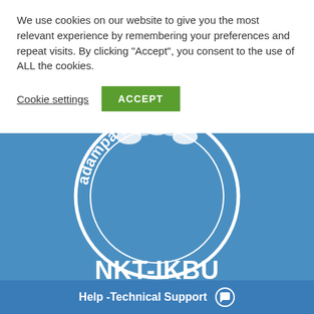We use cookies on our website to give you the most relevant experience by remembering your preferences and repeat visits. By clicking "Accept", you consent to the use of ALL the cookies.
Cookie settings
ACCEPT
[Figure (logo): Partial circular logo reading 'adampa Buddhis' with decorative elements, white on blue background, NKT-IKBU organization logo]
NKT-IKBU
Free e-book
[Figure (photo): Partial view of a white book cover at bottom left]
Help -Technical Support